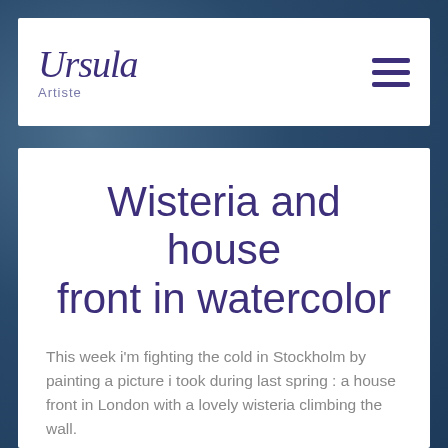Ursula Artiste
Wisteria and house front in watercolor
This week i'm fighting the cold in Stockholm by painting a picture i took during last spring : a house front in London with a lovely wisteria climbing the wall.
[Figure (photo): Photo of a brick house front in London with wisteria and greenery climbing the wall, blue sky above]
[Figure (illustration): Watercolor painting in progress showing a house front with windows and green foliage]